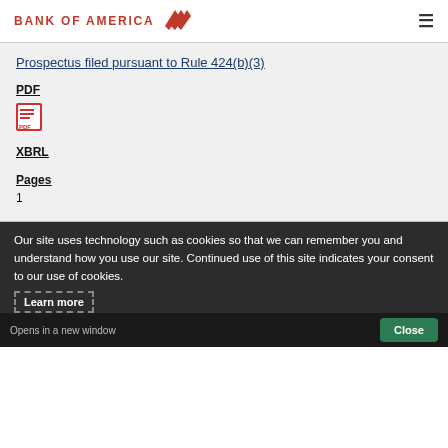BANK OF AMERICA
Prospectus filed pursuant to Rule 424(b)(3)
PDF
[Figure (illustration): PDF icon - red square with document symbol]
XBRL
Pages
1
Our site uses technology such as cookies so that we can remember you and understand how you use our site. Continued use of this site indicates your consent to our use of cookies.
Learn more
Opens in a new window
Close